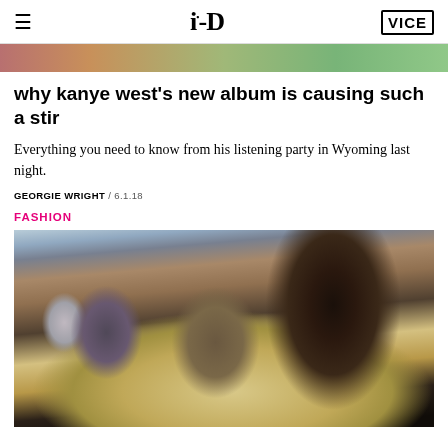i-D / VICE
[Figure (photo): Partial top photo strip showing colorful image, cropped at top of page]
why kanye west's new album is causing such a stir
Everything you need to know from his listening party in Wyoming last night.
GEORGIE WRIGHT / 6.1.18
FASHION
[Figure (photo): Photo of a Black man in a black t-shirt examining a wooden box or furniture piece, with other people visible in the background in what appears to be a workshop or studio setting]